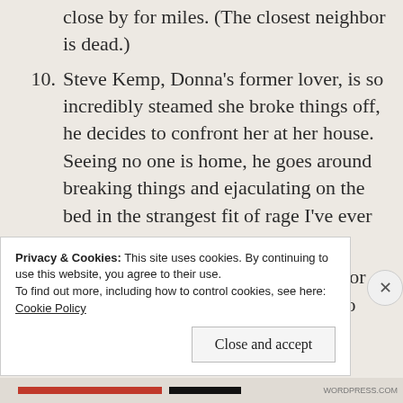close by for miles. (The closest neighbor is dead.)
10. Steve Kemp, Donna’s former lover, is so incredibly steamed she broke things off, he decides to confront her at her house. Seeing no one is home, he goes around breaking things and ejaculating on the bed in the strangest fit of rage I’ve ever read.
11. Donna and Tad are stuck in the car for an entire day at this point because no one knows they’re there and Vic has...
Privacy & Cookies: This site uses cookies. By continuing to use this website, you agree to their use.
To find out more, including how to control cookies, see here:
Cookie Policy
Close and accept